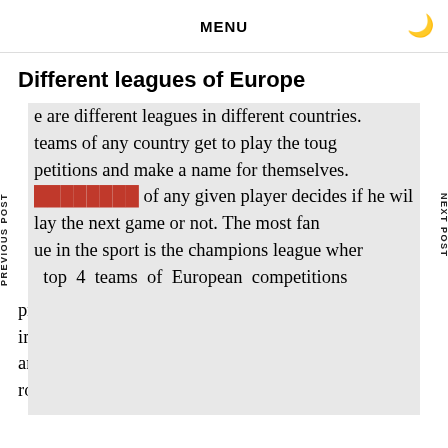MENU
Different leagues of Europe
e are different leagues in different countries. teams of any country get to play the toug petitions and make a name for themselves. ████████ of any given player decides if he wil lay the next game or not. The most fan ue in the sport is the champions league wher top 4 teams of European competitions previous winner of Europa league champion compete in group stages. The elimination is done stepwise, and the top 16 teams are finally selected for the round of 16. The most competitive league in the